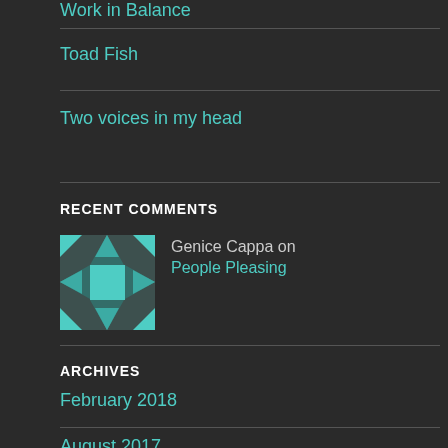Toad Fish
Two voices in my head
RECENT COMMENTS
Genice Cappa on People Pleasing
ARCHIVES
February 2018
August 2017